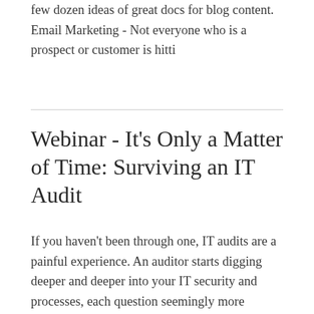few dozen ideas of great docs for blog content. Email Marketing - Not everyone who is a prospect or customer is hitti
Webinar - It's Only a Matter of Time: Surviving an IT Audit
If you haven't been through one, IT audits are a painful experience. An auditor starts digging deeper and deeper into your IT security and processes, each question seemingly more impossible than the last. And, unfortunately, you're probably going to have one soon – it could be part of a compliance initiative or because of a security breach, or just a suspect issue in IT. Whatever the